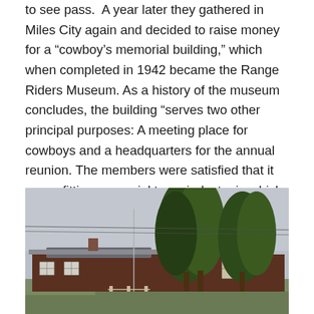to see pass. A year later they gathered in Miles City again and decided to raise money for a “cowboy’s memorial building,” which when completed in 1942 became the Range Riders Museum. As a history of the museum concludes, the building “serves two other principal purposes: A meeting place for cowboys and a headquarters for the annual reunion. The members were satisfied that it was a fitting memorial to an industry in which the raising and furnishing of livestock needed to be preserved for future generations.”
[Figure (photo): Exterior photograph of the Range Riders Museum building, a low log-style structure with a yellow sign reading 'Range Riders Museum', surrounded by large trees against an overcast sky.]